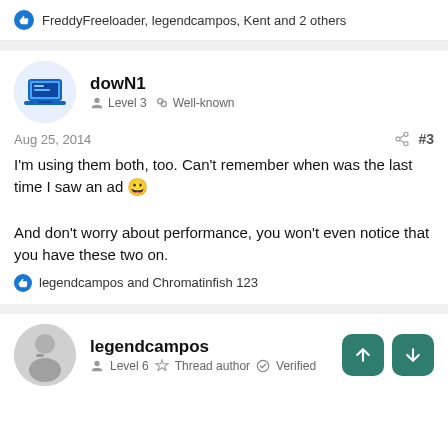FreddyFreeloader, legendcampos, Kent and 2 others
dowN1
Level 3  Well-known
Aug 25, 2014  #3
I'm using them both, too. Can't remember when was the last time I saw an ad 😀

And don't worry about performance, you won't even notice that you have these two on.
legendcampos and Chromatinfish 123
legendcampos
Level 6  Thread author  Verified